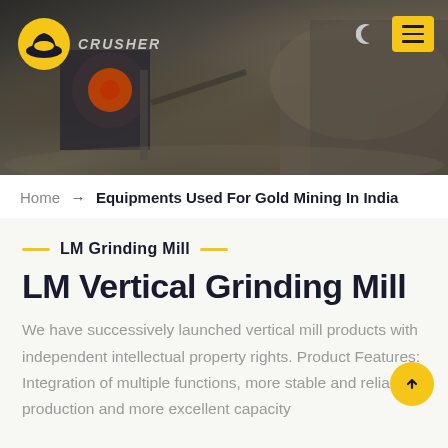[Figure (photo): Industrial quarry/mining site photo used as website header background, with heavy machinery visible]
CRUSHER (logo) — navigation with moon icon and hamburger menu
Home → Equipments Used For Gold Mining In India
LM Grinding Mill
LM Vertical Grinding Mill
We have successively launched vertical mill products with independent intellectual property rights. Product Features: Integration of multiple functions, more stable and reliable production and more excellent capacity